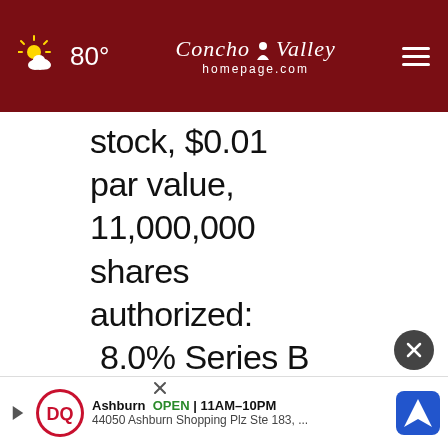80° Concho Valley homepage.com
stock, $0.01 par value, 11,000,000 shares authorized: 8.0% Series B cumulative redeemable perpetual preferred sto
[Figure (infographic): Dairy Queen advertisement banner: Ashburn OPEN 11AM-10PM, 44050 Ashburn Shopping Plz Ste 183]